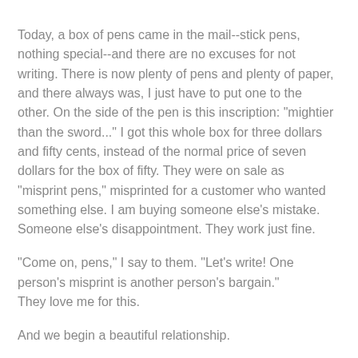Today, a box of pens came in the mail--stick pens, nothing special--and there are no excuses for not writing. There is now plenty of pens and plenty of paper, and there always was, I just have to put one to the other. On the side of the pen is this inscription: "mightier than the sword..." I got this whole box for three dollars and fifty cents, instead of the normal price of seven dollars for the box of fifty. They were on sale as "misprint pens," misprinted for a customer who wanted something else. I am buying someone else's mistake. Someone else's disappointment. They work just fine.
"Come on, pens," I say to them. "Let's write! One person's misprint is another person's bargain."
They love me for this.
And we begin a beautiful relationship.